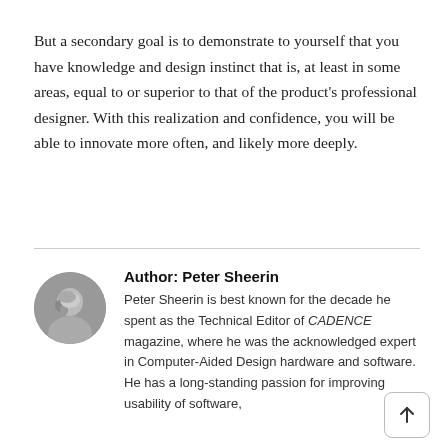But a secondary goal is to demonstrate to yourself that you have knowledge and design instinct that is, at least in some areas, equal to or superior to that of the product's professional designer. With this realization and confidence, you will be able to innovate more often, and likely more deeply.
Author: Peter Sheerin
Peter Sheerin is best known for the decade he spent as the Technical Editor of CADENCE magazine, where he was the acknowledged expert in Computer-Aided Design hardware and software. He has a long-standing passion for improving usability of software,